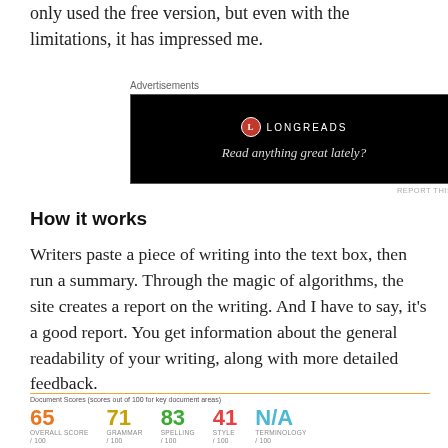only used the free version, but even with the limitations, it has impressed me.
[Figure (screenshot): Longreads advertisement banner with black background showing logo and tagline 'Read anything great lately?']
How it works
Writers paste a piece of writing into the text box, then run a summary. Through the magic of algorithms, the site creates a report on the writing. And I have to say, it's a good report. You get information about the general readability of your writing, along with more detailed feedback.
[Figure (screenshot): Document Scores panel showing scores out of 100 for key document areas: Overall Score 65, Grammar 71, Spelling 83, Style 41, Terminology N/A]